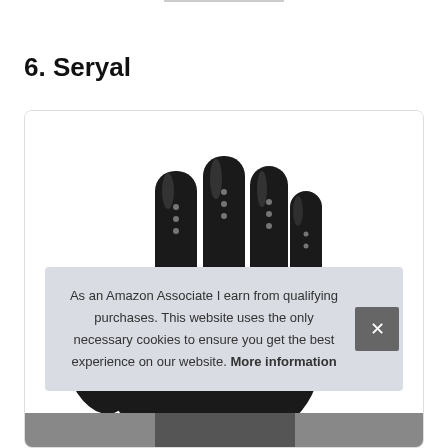6. Seryal
[Figure (photo): Black knit/mesh textured glove with dotted grip pattern, shown against white background inside a card with rounded border. Bottom of image shows a dark strip with another product partially visible.]
As an Amazon Associate I earn from qualifying purchases. This website uses the only necessary cookies to ensure you get the best experience on our website. More information